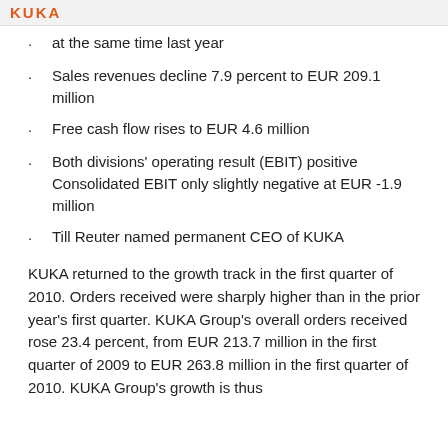KUKA
at the same time last year
Sales revenues decline 7.9 percent to EUR 209.1 million
Free cash flow rises to EUR 4.6 million
Both divisions' operating result (EBIT) positive Consolidated EBIT only slightly negative at EUR -1.9 million
Till Reuter named permanent CEO of KUKA
KUKA returned to the growth track in the first quarter of 2010. Orders received were sharply higher than in the prior year's first quarter. KUKA Group's overall orders received rose 23.4 percent, from EUR 213.7 million in the first quarter of 2009 to EUR 263.8 million in the first quarter of 2010. KUKA Group's growth is thus